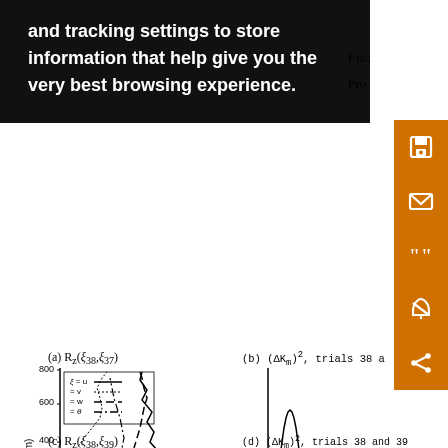and tracking settings to store information that help give you the very best browsing experience.
FIG.
Pro
[Figure (continuous-plot): Panel (a): Rz(ξ38,ξ37) — vertical profile plot of correlation vs height z (m) from 0 to 800m, with four curves: ξ=u (solid), ξ=v (dotted), ξ=w (dashed), ξ=θ (dash-dot). Curves show profiles crossing at various heights.]
(a) R_z(ξ38,ξ37)
[Figure (continuous-plot): Panel (b): (ΔKm)², trials 38 a[nd] — vertical profile with a bell-shaped curve peaking near z=200m.]
(b) (ΔKm)², trials 38 a
(c) R_z(ξ38,ξ39)
(d) (ΔKm)², trials 38 and 39
Pro
squ
diff
the
diff